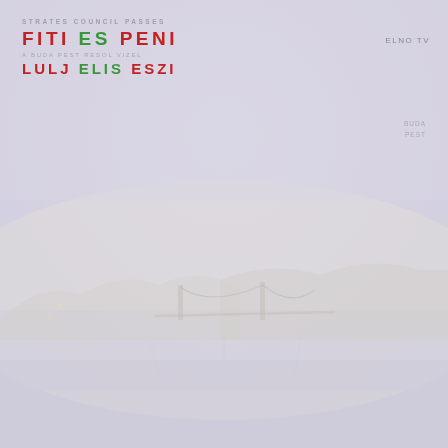[Figure (photo): Aerial/elevated view of Budapest cityscape at dusk showing the Chain Bridge over the Danube River, with city lights and buildings on both banks. The image is faded/washed out with a pale lavender-grey tone overlay.]
FITI ES PENI LULJ ELIS ESZI
ELNO TV